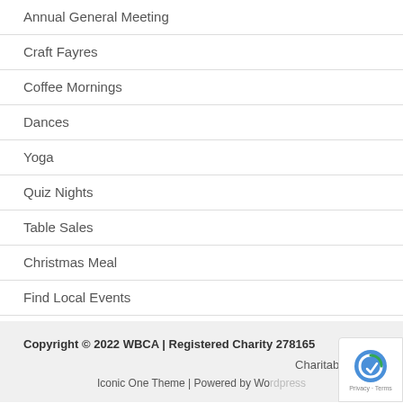Annual General Meeting
Craft Fayres
Coffee Mornings
Dances
Yoga
Quiz Nights
Table Sales
Christmas Meal
Find Local Events
Copyright © 2022 WBCA | Registered Charity 278165
Charitable Obj...
Iconic One Theme | Powered by WordPress